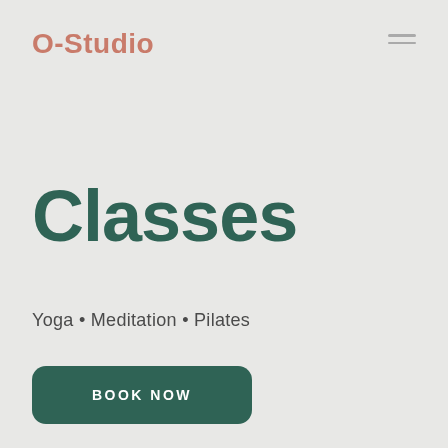O-Studio
Classes
Yoga • Meditation • Pilates
BOOK NOW